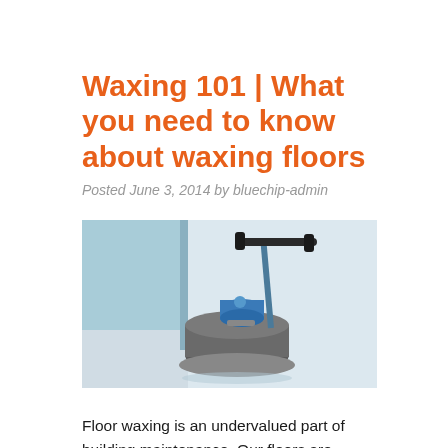Waxing 101 | What you need to know about waxing floors
Posted June 3, 2014 by bluechip-admin
[Figure (photo): A floor waxing/buffing machine with blue and metallic parts in an indoor space with light blue walls]
Floor waxing is an undervalued part of building maintenance. Our floors are naturally prone to dings, scratches, dirt, and debris buildup. As time goes on, floors (especially hardwood and linoleum) are